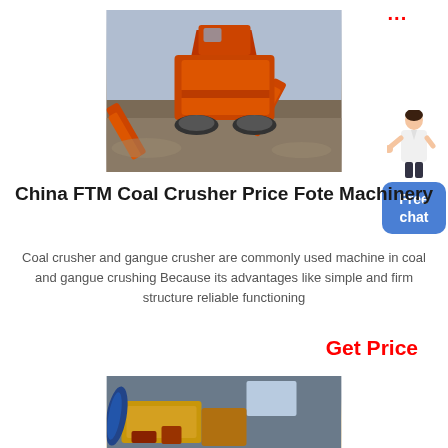...
[Figure (photo): Large orange/red coal crushing machine outdoors on a dirt/gravel site, with conveyor belts extended on both sides, overcast sky in background.]
[Figure (illustration): Person (woman in white coat) with hand extended, pointing, next to a blue rounded button labeled 'Free chat'.]
China FTM Coal Crusher Price Fote Machinery
Coal crusher and gangue crusher are commonly used machine in coal and gangue crushing Because its advantages like simple and firm structure reliable functioning
Get Price
[Figure (photo): Partial view of industrial yellow/brown machinery indoors, appears to be a crusher or processing machine.]